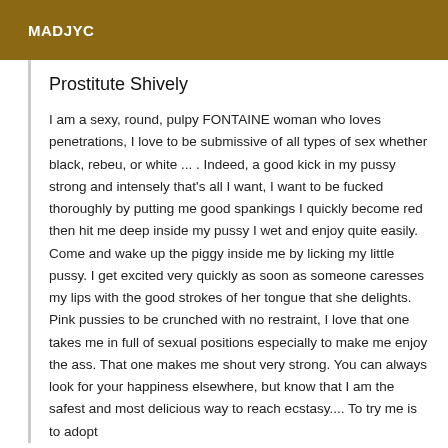MADJYC
Prostitute Shively
I am a sexy, round, pulpy FONTAINE woman who loves penetrations, I love to be submissive of all types of sex whether black, rebeu, or white ... . Indeed, a good kick in my pussy strong and intensely that's all I want, I want to be fucked thoroughly by putting me good spankings I quickly become red then hit me deep inside my pussy I wet and enjoy quite easily. Come and wake up the piggy inside me by licking my little pussy. I get excited very quickly as soon as someone caresses my lips with the good strokes of her tongue that she delights. Pink pussies to be crunched with no restraint, I love that one takes me in full of sexual positions especially to make me enjoy the ass. That one makes me shout very strong. You can always look for your happiness elsewhere, but know that I am the safest and most delicious way to reach ecstasy.... To try me is to adopt